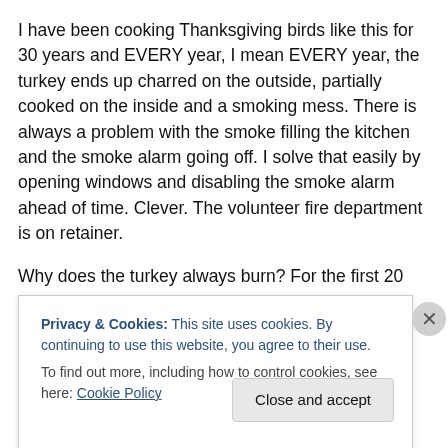I have been cooking Thanksgiving birds like this for 30 years and EVERY year, I mean EVERY year, the turkey ends up charred on the outside, partially cooked on the inside and a smoking mess. There is always a problem with the smoke filling the kitchen and the smoke alarm going off. I solve that easily by opening windows and disabling the smoke alarm ahead of time. Clever. The volunteer fire department is on retainer.
Why does the turkey always burn? For the first 20 years I figured it was a bad batch of turkeys. Not my fault. So I
Privacy & Cookies: This site uses cookies. By continuing to use this website, you agree to their use.
To find out more, including how to control cookies, see here: Cookie Policy
Close and accept